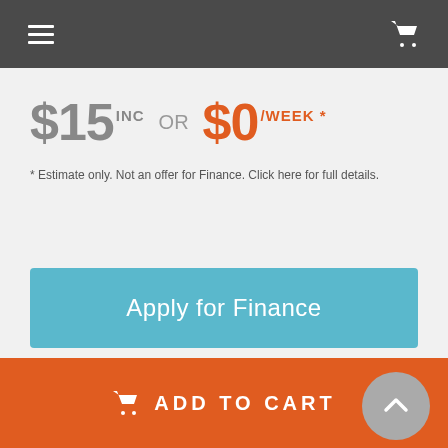navigation bar with hamburger menu and cart icon
$15 INC OR $0/WEEK *
* Estimate only. Not an offer for Finance. Click here for full details.
Apply for Finance
ADD TO CART